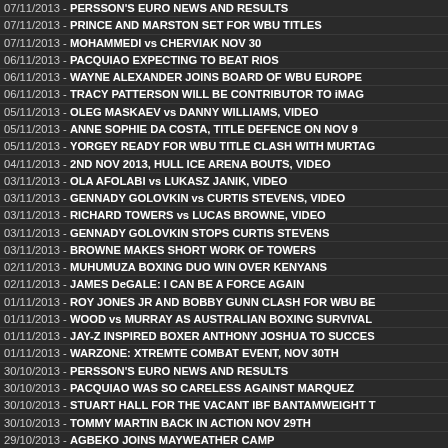07/11/2013 - PERSSON'S EURO NEWS AND RESULTS
07/11/2013 - PRINCE AND MARSTON SET FOR WBU TITLES
07/11/2013 - MOHAMMEDI vs CHERVIAK NOV 30
06/11/2013 - PACQUIAO EXPECTING TO BEAT RIOS
06/11/2013 - WAYNE ALEXANDER JOINS BOARD OF WBU EUROPE
06/11/2013 - TRACY PATTERSON WILL BE CONTRIBUTOR TO iMAG
05/11/2013 - OLEG MASKAEV vs DANNY WILLIAMS, VIDEO
05/11/2013 - ANNE SOPHIE DA COSTA, TITLE DEFENCE ON NOV 9
05/11/2013 - YORGEY READY FOR WBU TITLE CLASH WITH MURTAG
04/11/2013 - 2ND NOV 2013, HULL ICE ARENA BOUTS, VIDEO
03/11/2013 - OLA AFOLABI vs LUKASZ JANIK, VIDEO
03/11/2013 - GENNADY GOLOVKIN vs CURTIS STEVENS, VIDEO
03/11/2013 - RICHARD TOWERS vs LUCAS BROWNE, VIDEO
03/11/2013 - GENNADY GOLOVKIN STOPS CURTIS STEVENS
03/11/2013 - BROWNE MAKES SHORT WORK OF TOWERS
02/11/2013 - MUHUMUZA BOXING DUO WIN OVER KENYANS
02/11/2013 - JAMES DeGALE: I CAN BE A FORCE AGAIN
01/11/2013 - ROY JONES JR AND BOBBY GUNN CLASH FOR WBU BE
01/11/2013 - WOOD vs MURRAY AS AUSTRALIAN BOXING SURVIVAL
01/11/2013 - JAY-Z INSPIRED BOXER ANTHONY JOSHUA TO SUCCES
01/11/2013 - WARZONE: XTREMTE COMBAT EVENT, NOV 30TH
30/10/2013 - PERSSON'S EURO NEWS AND RESULTS
30/10/2013 - PACQUIAO WAS SO CARELESS AGAINST MARQUEZ
30/10/2013 - STUART HALL FOR THE VACANT IBF BANTAMWEIGHT T
30/10/2013 - TOMMY MARTIN BACK IN ACTION NOV 29TH
29/10/2013 - AGBEKO JOINS MAYWEATHER CAMP